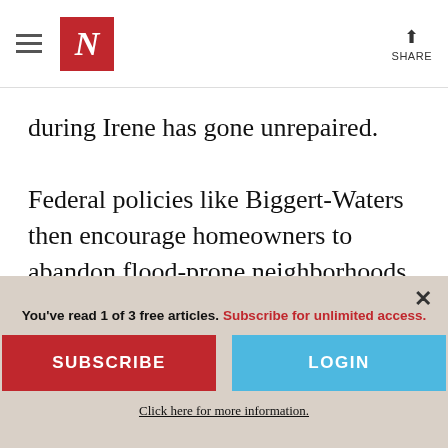The Nation — Navigation header with hamburger menu, N logo, and share button
during Irene has gone unrepaired.

Federal policies like Biggert-Waters then encourage homeowners to abandon flood-prone neighborhoods by raising insurance premiums so high that they're impossible to pay. Those who can afford to move get out. Those who can't are stuck without adequate
You've read 1 of 3 free articles. Subscribe for unlimited access.
SUBSCRIBE
LOGIN
Click here for more information.